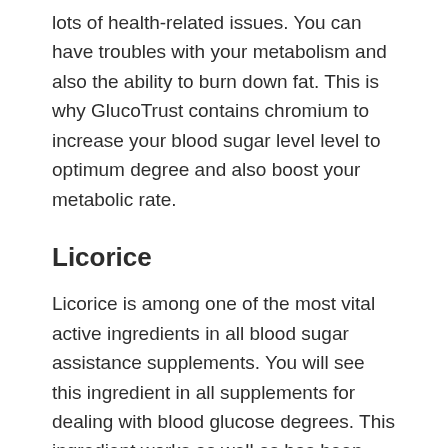lots of health-related issues. You can have troubles with your metabolism and also the ability to burn down fat. This is why GlucoTrust contains chromium to increase your blood sugar level level to optimum degree and also boost your metabolic rate.
Licorice
Licorice is among one of the most vital active ingredients in all blood sugar assistance supplements. You will see this ingredient in all supplements for dealing with blood glucose degrees. This ingredient works as well as has been proven sometimes with clinical research studies. Its core values stem from promoting healthy and